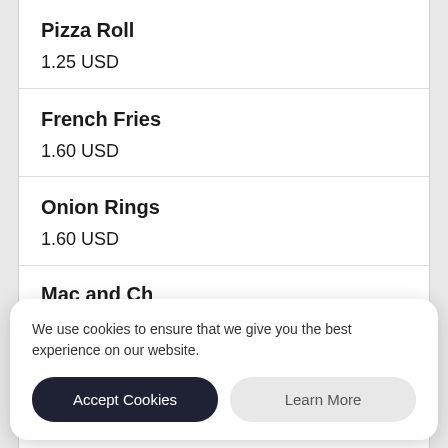Pizza Roll
1.25 USD
French Fries
1.60 USD
Onion Rings
1.60 USD
We use cookies to ensure that we give you the best experience on our website.
Accept Cookies
Learn More